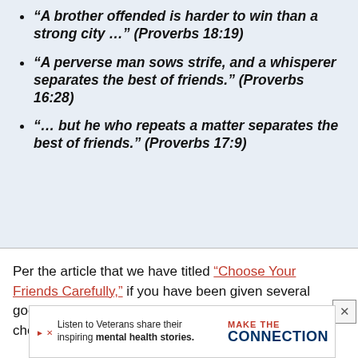“A brother offended is harder to win than a strong city …” (Proverbs 18:19)
“A perverse man sows strife, and a whisperer separates the best of friends.” (Proverbs 16:28)
“… but he who repeats a matter separates the best of friends.” (Proverbs 17:9)
Per the article that we have titled “Choose Your Friends Carefully,” if you have been given several good God-friends by the Lord, really value and cherish ... and do no...